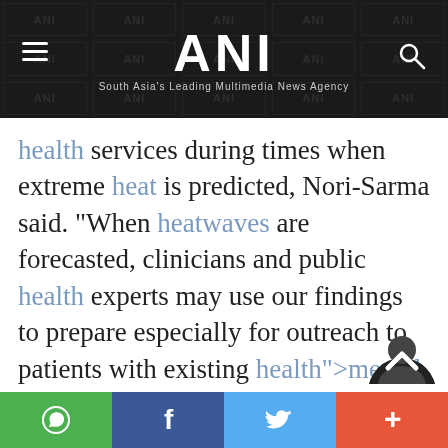ANI — South Asia's Leading Multimedia News Agency
health services during times when extreme heat is predicted, Nori-Sarma said. "When heatwaves are forecasted, clinicians and public health experts may use our findings to prepare especially for outreach to patients with existing health">mental health conditions."
The general public can also benefit from this insight, said study senior author Dr. Gregory Wellenius, professor of